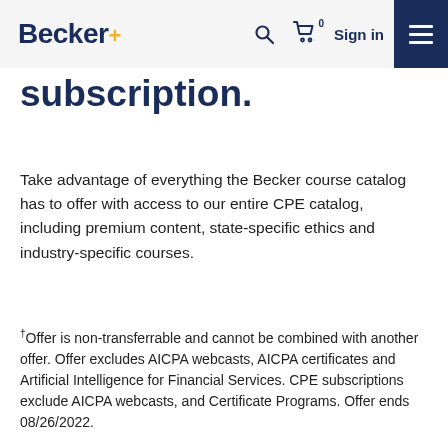Becker+ [navigation bar with search, cart (0), Sign in, menu]
subscription.
Take advantage of everything the Becker course catalog has to offer with access to our entire CPE catalog, including premium content, state-specific ethics and industry-specific courses.
†Offer is non-transferrable and cannot be combined with another offer. Offer excludes AICPA webcasts, AICPA certificates and Artificial Intelligence for Financial Services. CPE subscriptions exclude AICPA webcasts, and Certificate Programs. Offer ends 08/26/2022.